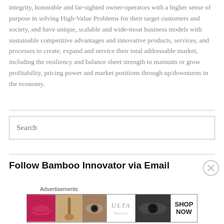integrity, honorable and far-sighted owner-operators with a higher sense of purpose in solving High-Value Problems for their target customers and society, and have unique, scalable and wide-moat business models with sustainable competitive advantages and innovative products, services, and processes to create, expand and service their total addressable market, including the resiliency and balance sheet strength to maintain or grow profitability, pricing power and market positions through up/downturns in the economy.
Search
Follow Bamboo Innovator via Email
Advertisements
[Figure (photo): ULTA beauty advertisement banner showing lips with red lipstick, makeup brush, eye with eyeshadow, ULTA logo, dramatic eye with makeup, and SHOP NOW text]